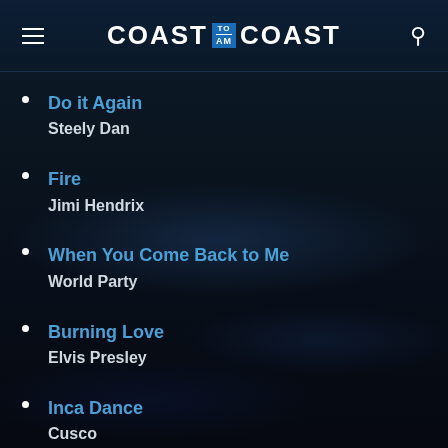COAST TO AM COAST
Do it Again
Steely Dan
Fire
Jimi Hendrix
When You Come Back to Me
World Party
Burning Love
Elvis Presley
Inca Dance
Cusco